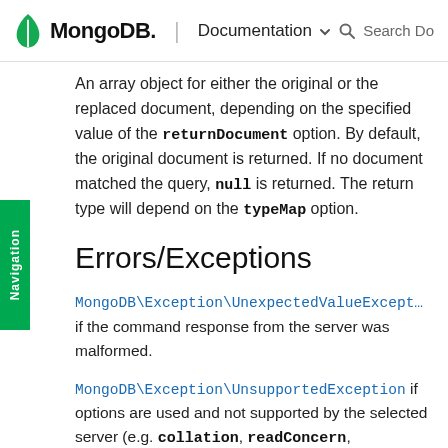MongoDB. | Documentation
An array object for either the original or the replaced document, depending on the specified value of the returnDocument option. By default, the original document is returned. If no document matched the query, null is returned. The return type will depend on the typeMap option.
Errors/Exceptions
MongoDB\Exception\UnexpectedValueException if the command response from the server was malformed.
MongoDB\Exception\UnsupportedException if options are used and not supported by the selected server (e.g. collation, readConcern, writeConcern).
MongoDB\Exception\InvalidArgumentException